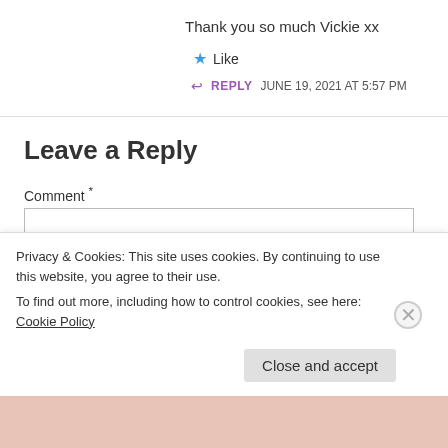Thank you so much Vickie xx
★ Like
↩ REPLY   JUNE 19, 2021 AT 5:57 PM
Leave a Reply
Comment *
Privacy & Cookies: This site uses cookies. By continuing to use this website, you agree to their use.
To find out more, including how to control cookies, see here: Cookie Policy
Close and accept